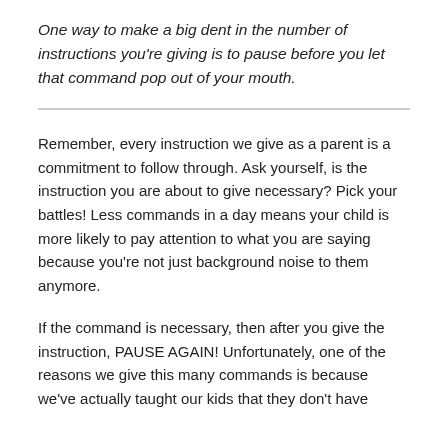One way to make a big dent in the number of instructions you're giving is to pause before you let that command pop out of your mouth.
Remember, every instruction we give as a parent is a commitment to follow through. Ask yourself, is the instruction you are about to give necessary? Pick your battles! Less commands in a day means your child is more likely to pay attention to what you are saying because you're not just background noise to them anymore.
If the command is necessary, then after you give the instruction, PAUSE AGAIN! Unfortunately, one of the reasons we give this many commands is because we've actually taught our kids that they don't have